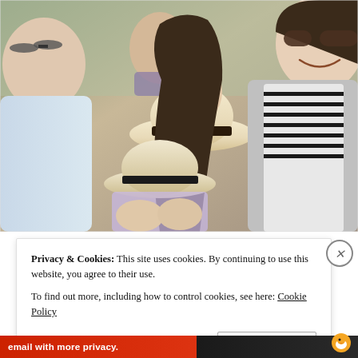[Figure (photo): A group selfie photo of several people outdoors. A man in a light blue shirt is on the left with sunglasses on his head. Several women are in the center and right. One woman wears a wide-brim hat with a dark band and sunglasses. Another woman in the center-front wears a straw fedora hat. The woman on the far right wears a gray cardigan over a striped top and is smiling broadly.]
Privacy & Cookies: This site uses cookies. By continuing to use this website, you agree to their use.
To find out more, including how to control cookies, see here: Cookie Policy
Close and accept
email with more privacy.